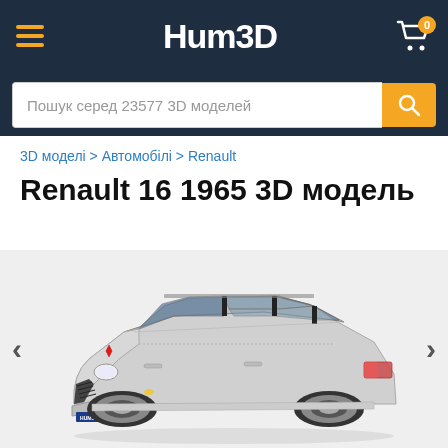Hum3D
Пошук серед 23577 3D моделей
3D моделі > Автомобілі > Renault
Renault 16 1965 3D модель
[Figure (photo): 3D render of a Renault 16 1965 automobile in silver/white color, viewed from the front-left angle, displayed on a light gray background. The car has a Hum3D license plate.]